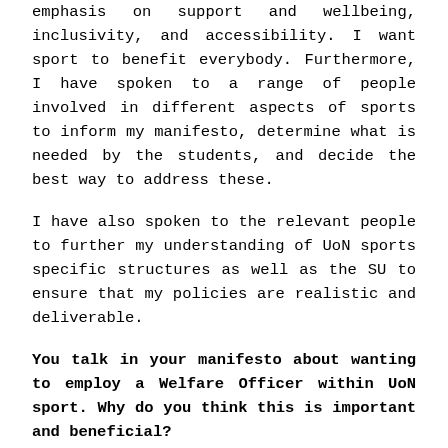emphasis on support and wellbeing, inclusivity, and accessibility. I want sport to benefit everybody. Furthermore, I have spoken to a range of people involved in different aspects of sports to inform my manifesto, determine what is needed by the students, and decide the best way to address these.
I have also spoken to the relevant people to further my understanding of UoN sports specific structures as well as the SU to ensure that my policies are realistic and deliverable.
You talk in your manifesto about wanting to employ a Welfare Officer within UoN sport. Why do you think this is important and beneficial?
Student welfare is of the utmost importance to